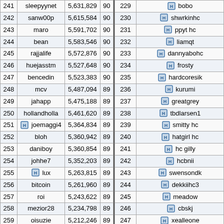| # | Name | Score | Lvl |
| --- | --- | --- | --- |
| 241 | sleepyynet | 5,631,829 | 90 |
| 242 | sanw00p | 5,615,584 | 90 |
| 243 | maro | 5,591,702 | 90 |
| 244 | bean | 5,583,546 | 90 |
| 245 | rajjalife | 5,572,876 | 90 |
| 246 | huejasstm | 5,527,648 | 90 |
| 247 | bencedin | 5,523,383 | 90 |
| 248 | mcv | 5,487,094 | 89 |
| 249 | jahapp | 5,475,188 | 89 |
| 250 | hollandholla | 5,461,620 | 89 |
| 251 | [H] joemaggi4 | 5,364,834 | 89 |
| 252 | bloh | 5,360,942 | 89 |
| 253 | daniboy | 5,360,854 | 89 |
| 254 | johhe7 | 5,352,203 | 89 |
| 255 | [H] lux | 5,263,815 | 89 |
| 256 | bitcoin | 5,261,960 | 89 |
| 257 | roi | 5,243,622 | 89 |
| 258 | mezior28 | 5,234,798 | 89 |
| 259 | oisuzie | 5,212,246 | 89 |
| 260 | orjan | 5,197,572 | 89 |
| 261 | mucka | 5,180,576 | 88 |
| # | Name |
| --- | --- |
| 229 | [H] bobo |
| 230 | [H] shwrkinhc |
| 231 | [H] ppyt hc |
| 232 | [H] liamqt |
| 233 | [H] dannyabohc |
| 234 | [H] frosty |
| 235 | [H] hardcoresik |
| 236 | [H] kurumi |
| 237 | [H] greatgrey |
| 238 | [H] tbdlarsen1 |
| 239 | [H] smitty hc |
| 240 | [H] hatgirl hc |
| 241 | [H] hc gilly |
| 242 | [H] hcbnii |
| 243 | [H] swensondk |
| 244 | [H] dekkiihc3 |
| 245 | [H] meadow |
| 246 | [H] cbskj |
| 247 | [H] xealleone |
| 248 | [H] elijah |
| 249 | [H] trivette |
| 250 | [H] sof |